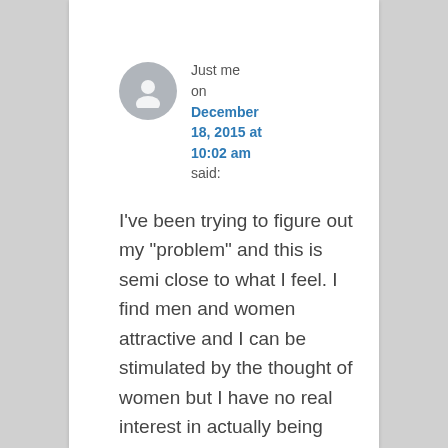[Figure (illustration): Generic grey user avatar icon (person silhouette in a circle)]
Just me
on
December 18, 2015 at 10:02 am
said:
I've been trying to figure out my “problem” and this is semi close to what I feel. I find men and women attractive and I can be stimulated by the thought of women but I have no real interest in actually being physical with a women. I enjoy